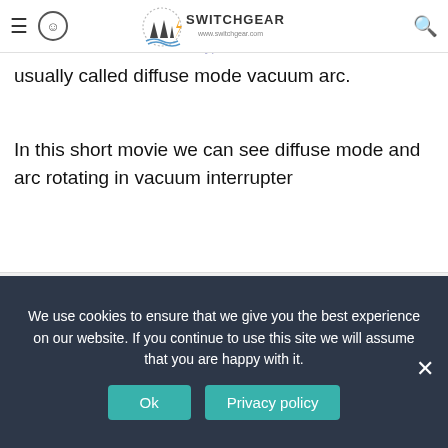SWITCHGEAR navigation bar with hamburger menu, user icon, logo, and search
and there is no visible focal point of the arc on the anode. This characteristic is that diffuse light is emitted from the arc between the electrodes. This type of arc is thus usually called diffuse mode vacuum arc.
In this short movie we can see diffuse mode and arc rotating in vacuum interrupter
Advertisement
[Figure (photo): Advertisement banner for Rozhbin electric showing protection relay devices with text: Rozhbin electric: Trainings for protection relays, www.rozhbin.com]
We use cookies to ensure that we give you the best experience on our website. If you continue to use this site we will assume that you are happy with it.
Ok
Privacy policy